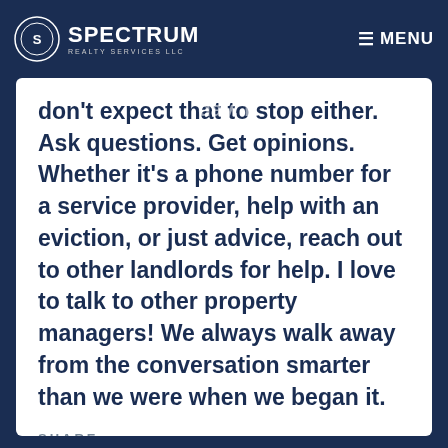Spectrum Realty Services LLC — MENU
property management business for 10 years, and I still learn something new every day. I don't expect that to stop either. Ask questions. Get opinions. Whether it's a phone number for a service provider, help with an eviction, or just advice, reach out to other landlords for help. I love to talk to other property managers! We always walk away from the conversation smarter than we were when we began it.
SHARE